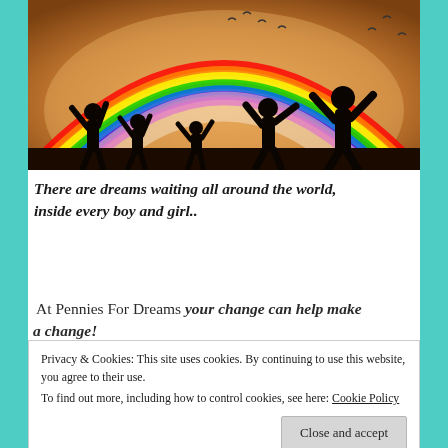[Figure (photo): Silhouettes of children with arms raised joyfully against a sunset sky with a colorful rainbow arching overhead and birds flying in the background]
There are dreams waiting all around the world, inside every boy and girl..
At Pennies For Dreams your change can help make a change!
Privacy & Cookies: This site uses cookies. By continuing to use this website, you agree to their use.
To find out more, including how to control cookies, see here: Cookie Policy
Close and accept
What makes Pennies For Dreams different